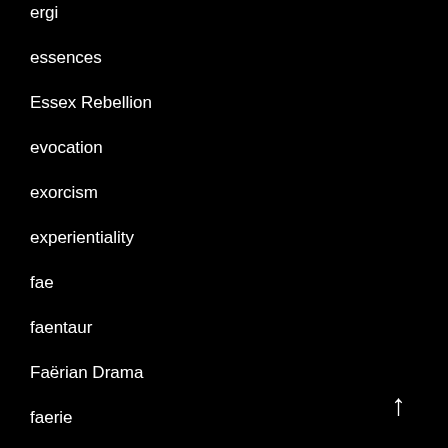ergi
essences
Essex Rebellion
evocation
exorcism
experientiality
fae
faentaur
Faërian Drama
faerie
faerie queens
faith